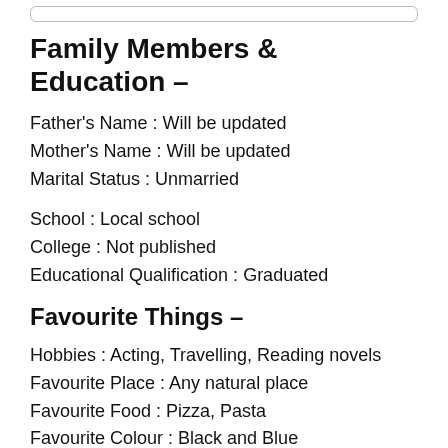Family Members & Education –
Father's Name : Will be updated
Mother's Name : Will be updated
Marital Status : Unmarried
School : Local school
College : Not published
Educational Qualification : Graduated
Favourite Things –
Hobbies : Acting, Travelling, Reading novels
Favourite Place : Any natural place
Favourite Food : Pizza, Pasta
Favourite Colour : Black and Blue